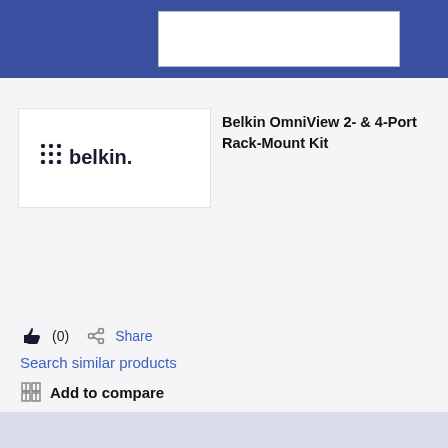[Figure (logo): Belkin brand logo with dot-grid icon and 'belkin.' text]
Belkin OmniView 2- & 4-Port Rack-Mount Kit
👍 (0)   Share
Search similar products
Add to compare